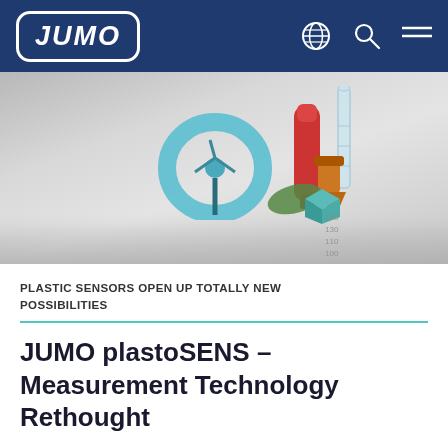JUMO
[Figure (photo): Product photo showing various plastic sensors including a blue ring-shaped sensor, red cylindrical sensor, a clear test tube, and orange/green components arranged on a reflective surface with measurement markings.]
PLASTIC SENSORS OPEN UP TOTALLY NEW POSSIBILITIES
JUMO plastoSENS – Measurement Technology Rethought